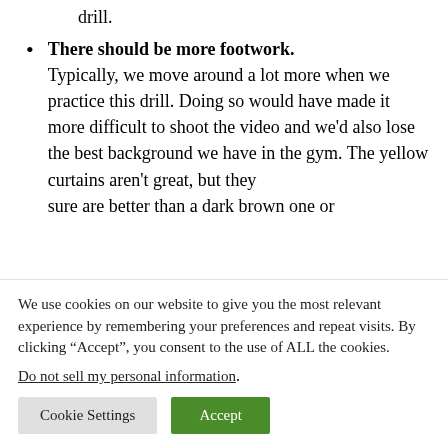drill.
There should be more footwork. Typically, we move around a lot more when we practice this drill. Doing so would have made it more difficult to shoot the video and we’d also lose the best background we have in the gym. The yellow curtains aren’t great, but they sure are better than a dark brown one or
We use cookies on our website to give you the most relevant experience by remembering your preferences and repeat visits. By clicking “Accept”, you consent to the use of ALL the cookies.
Do not sell my personal information.
Cookie Settings   Accept